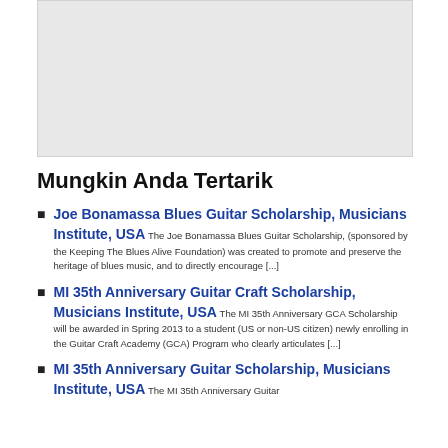[Figure (other): Gray placeholder image box at the top of the page]
Mungkin Anda Tertarik
Joe Bonamassa Blues Guitar Scholarship, Musicians Institute, USA The Joe Bonamassa Blues Guitar Scholarship, (sponsored by the Keeping The Blues Alive Foundation) was created to promote and preserve the heritage of blues music, and to directly encourage [...]
MI 35th Anniversary Guitar Craft Scholarship, Musicians Institute, USA The MI 35th Anniversary GCA Scholarship will be awarded in Spring 2013 to a student (US or non-US citizen) newly enrolling in the Guitar Craft Academy (GCA) Program who clearly articulates [...]
MI 35th Anniversary Guitar Scholarship, Musicians Institute, USA The MI 35th Anniversary Guitar...